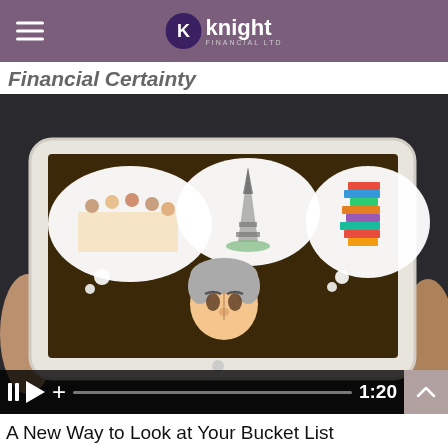Knight Financial Ltd
Financial Certainty
[Figure (screenshot): A video thumbnail showing hands holding a tablet/iPad displaying an animated illustration of an elderly person thinking about a family dinner, the Eiffel Tower, and a stack of books as thought bubbles. The video player shows pause, play, and plus controls with a progress bar and timestamp reading 1:20.]
A New Way to Look at Your Bucket List